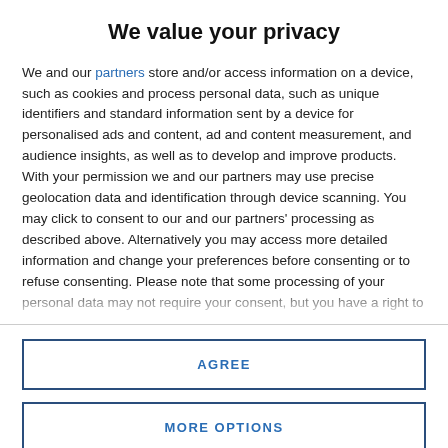We value your privacy
We and our partners store and/or access information on a device, such as cookies and process personal data, such as unique identifiers and standard information sent by a device for personalised ads and content, ad and content measurement, and audience insights, as well as to develop and improve products. With your permission we and our partners may use precise geolocation data and identification through device scanning. You may click to consent to our and our partners' processing as described above. Alternatively you may access more detailed information and change your preferences before consenting or to refuse consenting. Please note that some processing of your personal data may not require your consent, but you have a right to
AGREE
MORE OPTIONS
[Figure (photo): Photo visible at the bottom of the page behind the modal overlay]